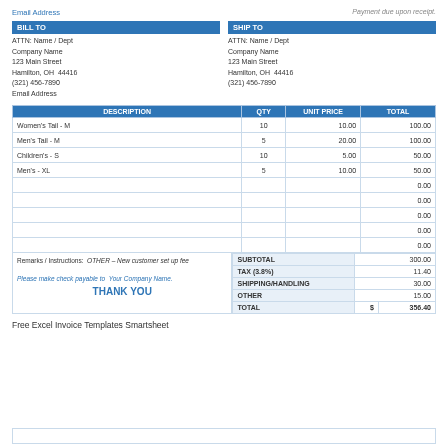Email Address
Payment due upon receipt.
| BILL TO |  |
| --- | --- |
| ATTN: Name / Dept |  |
| Company Name |  |
| 123 Main Street |  |
| Hamilton, OH  44416 |  |
| (321) 456-7890 |  |
| Email Address |  |
| SHIP TO |  |
| --- | --- |
| ATTN: Name / Dept |  |
| Company Name |  |
| 123 Main Street |  |
| Hamilton, OH  44416 |  |
| (321) 456-7890 |  |
| DESCRIPTION | QTY | UNIT PRICE | TOTAL |
| --- | --- | --- | --- |
| Women's Tail - M | 10 | 10.00 | 100.00 |
| Men's Tail - M | 5 | 20.00 | 100.00 |
| Children's - S | 10 | 5.00 | 50.00 |
| Men's - XL | 5 | 10.00 | 50.00 |
|  |  |  | 0.00 |
|  |  |  | 0.00 |
|  |  |  | 0.00 |
|  |  |  | 0.00 |
|  |  |  | 0.00 |
| SUBTOTAL |  |  | 300.00 |
| TAX (3.8%) |  |  | 11.40 |
| SHIPPING/HANDLING |  |  | 30.00 |
| OTHER |  |  | 15.00 |
| TOTAL |  | $  | 356.40 |
Remarks / Instructions: OTHER – New customer set up fee
Please make check payable to  Your Company Name.
THANK YOU
Free Excel Invoice Templates Smartsheet